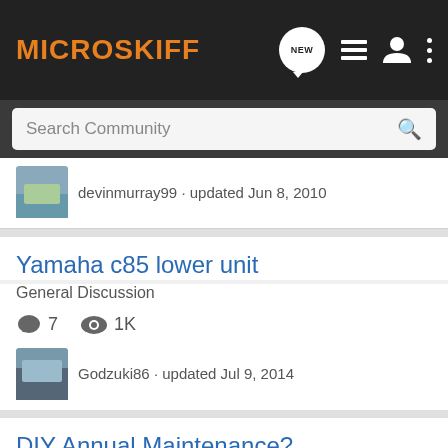MICROSKIFF
devinmurray99 · updated Jun 8, 2010
Yamaha c85 lower unit
General Discussion
7  1K
Godzuki86 · updated Jul 9, 2014
DIY Annual Maintenance?
Outboard Maintenance
10  3K
T Bone · updated Feb 26, 2016